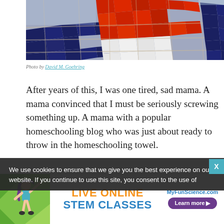[Figure (photo): Close-up of a colorful mosaic featuring red, white, and dark blue broken ceramic tiles arranged in a decorative pattern]
Photo by David M. Goehring
After years of this, I was one tired, sad mama. A mama convinced that I must be seriously screwing something up. A mama with a popular homeschooling blog who was just about ready to throw in the homeschooling towel...
We use cookies to ensure that we give you the best experience on our website. If you continue to use this site, you consent to the use of
[Figure (infographic): Advertisement for MyFunScience.com: Live Online STEM Classes with a Learn more button and cartoon girl illustration]